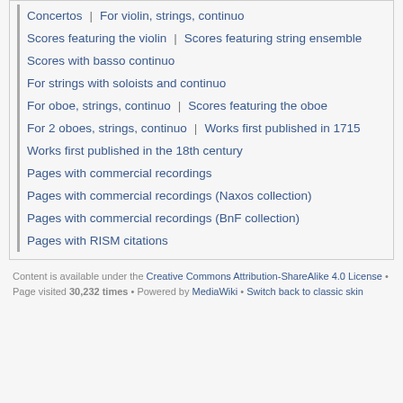Concertos | For violin, strings, continuo
Scores featuring the violin | Scores featuring string ensemble
Scores with basso continuo
For strings with soloists and continuo
For oboe, strings, continuo | Scores featuring the oboe
For 2 oboes, strings, continuo | Works first published in 1715
Works first published in the 18th century
Pages with commercial recordings
Pages with commercial recordings (Naxos collection)
Pages with commercial recordings (BnF collection)
Pages with RISM citations
Content is available under the Creative Commons Attribution-ShareAlike 4.0 License • Page visited 30,232 times • Powered by MediaWiki • Switch back to classic skin